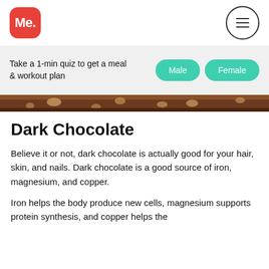Me.
Take a 1-min quiz to get a meal & workout plan
[Figure (photo): Close-up of dark chocolate texture with light chocolate chip pieces on top]
Dark Chocolate
Believe it or not, dark chocolate is actually good for your hair, skin, and nails. Dark chocolate is a good source of iron, magnesium, and copper.
Iron helps the body produce new cells, magnesium supports protein synthesis, and copper helps the